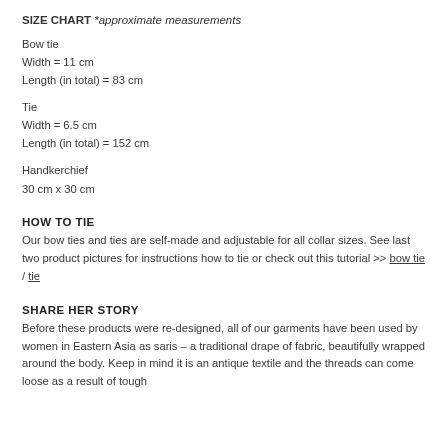SIZE CHART *approximate measurements
Bow tie
Width = 11 cm
Length (in total) = 83 cm
Tie
Width = 6.5 cm
Length (in total) = 152 cm
Handkerchief
30 cm x 30 cm
HOW TO TIE
Our bow ties and ties are self-made and adjustable for all collar sizes. See last two product pictures for instructions how to tie or check out this tutorial >> bow tie / tie
SHARE HER STORY
Before these products were re-designed, all of our garments have been used by women in Eastern Asia as saris – a traditional drape of fabric, beautifully wrapped around the body. Keep in mind it is an antique textile and the threads can come loose as a result of tough